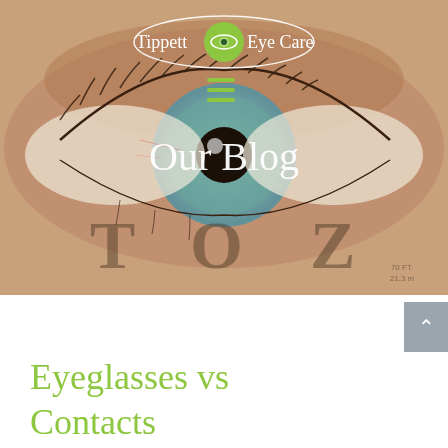[Figure (photo): Hero banner with close-up photograph of a human eye with blue-green iris overlaid with eye chart letters T O Z and Snellen chart distance markings (70 FT / 21.3 m). Tippett Eye Care logo at top center with green circle eye icon on white oval. Hamburger menu icon in green. 'Our Blog' text overlay in white.]
Eyeglasses vs Contacts